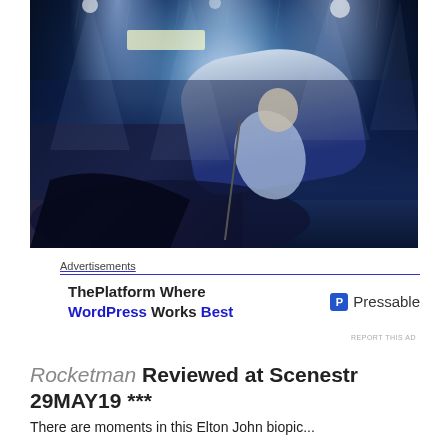[Figure (photo): Concert photo showing a performer at a grand piano on a large stadium stage, looking upward dramatically, with bright stage lights and a massive crowd in the background. Blue-toned atmospheric lighting fills the arena.]
Advertisements
ThePlatform Where WordPress Works Best   P Pressable
REPORT THIS AD
Rocketman Reviewed at Scenestr 29MAY19 ***
There are moments in this Elton John biopic...